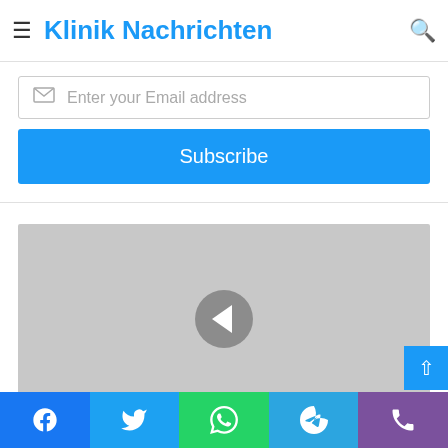to get the new updates!
Klinik Nachrichten
Enter your Email address
Subscribe
[Figure (photo): Grey placeholder image with a circular back/previous arrow button (left chevron) centered on a light grey background]
[Figure (other): Social share bar with Facebook, Twitter, WhatsApp, Telegram, and phone/Viber icons]